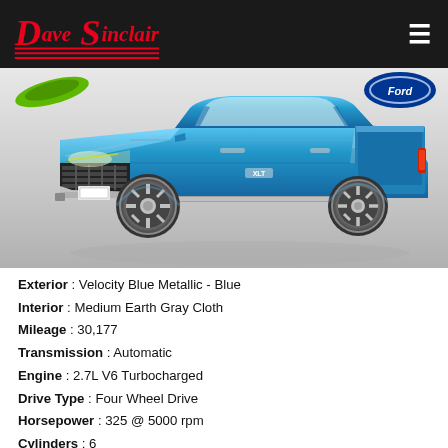Dave Sinclair
[Figure (photo): Blue Ford F-150 pickup truck (Velocity Blue Metallic) photographed in a studio setting against a gray background, three-quarter front view. Green and Ford oval logos visible in background.]
Exterior : Velocity Blue Metallic - Blue
Interior : Medium Earth Gray Cloth
Mileage : 30,177
Transmission : Automatic
Engine : 2.7L V6 Turbocharged
Drive Type : Four Wheel Drive
Horsepower : 325 @ 5000 rpm
Cylinders : 6
Fuel : Gasoline
MPG : 19 City / 24 HWY
Stock : P2241100